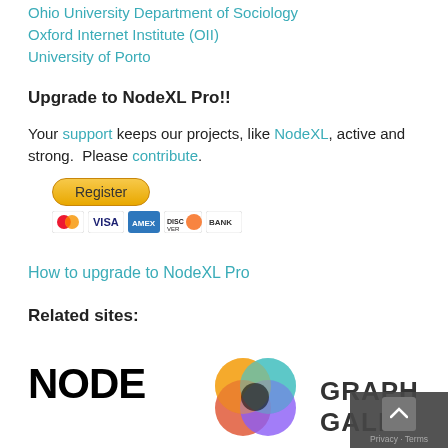Ohio University Department of Sociology
Oxford Internet Institute (OII)
University of Porto
Upgrade to NodeXL Pro!!
Your support keeps our projects, like NodeXL, active and strong.  Please contribute.
[Figure (other): Register button with payment icons (Mastercard, VISA, American Express, Discover, Bank)]
How to upgrade to NodeXL Pro
Related sites:
[Figure (logo): NodeXL logo with colorful overlapping circles and GRAPH GALLERY text]